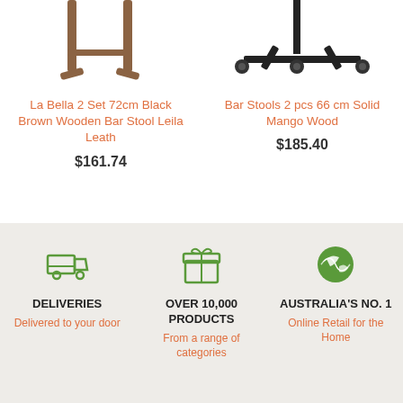[Figure (photo): Partial image of La Bella wooden bar stool legs]
La Bella 2 Set 72cm Black Brown Wooden Bar Stool Leila Leath
$161.74
[Figure (photo): Partial image of Bar Stool with black metal base]
Bar Stools 2 pcs 66 cm Solid Mango Wood
$185.40
[Figure (infographic): Three feature icons: delivery truck, gift box, globe]
DELIVERIES
Delivered to your door
OVER 10,000 PRODUCTS
From a range of categories
AUSTRALIA'S NO. 1
Online Retail for the Home